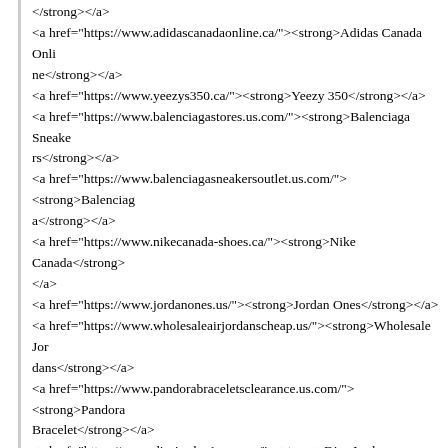</strong></a>
<a href="https://www.adidascanadaonline.ca/"><strong>Adidas Canada Online</strong></a>
<a href="https://www.yeezys350.ca/"><strong>Yeezy 350</strong></a>
<a href="https://www.balenciagastores.us.com/"><strong>Balenciaga Sneakers</strong></a>
<a href="https://www.balenciagasneakersoutlet.us.com/"><strong>Balenciaga</strong></a>
<a href="https://www.nikecanada-shoes.ca/"><strong>Nike Canada</strong></a>
<a href="https://www.jordanones.us/"><strong>Jordan Ones</strong></a>
<a href="https://www.wholesaleairjordanscheap.us/"><strong>Wholesale Jordans</strong></a>
<a href="https://www.pandorabraceletsclearance.us.com/"><strong>Pandora Bracelet</strong></a>
<a href="https://www.diorjordan1.us.com/"><strong>Dior Jordan 1</strong></a>
<a href="https://www.jordan1high.us/"><strong>Jordan 1 High</strong></a>
<a href="https://www.pandora-jewelryoutlets.us.com/"><strong>Pandora Jewelry Outlet</strong></a>
<a href="https://www.nikescanadaonlineshopping.ca/"><strong>Nike Canada Online</strong></a>
<a href="https://www.pandoraoutletjewelry.us.com/"><strong>Pandora Outlet</strong></a>
<a href="https://www.balenciagastore.us.com/"><strong>Balenciaga Sneaker</strong>